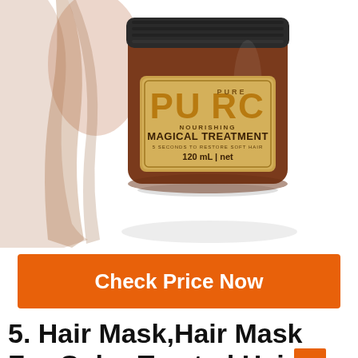[Figure (photo): Product photo of PURC Pure Nourishing Magical Treatment hair mask jar (120 mL net), brown jar with black lid and gold label, woman with long brown hair in background.]
Check Price Now
5. Hair Mask,Hair Mask For Color Treated Hair